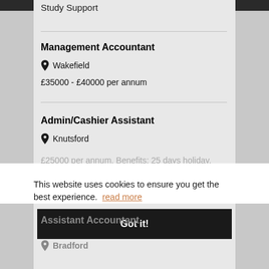Study Support
Management Accountant
Wakefield
£35000 - £40000 per annum
Admin/Cashier Assistant
Knutsford
£25000 per annum, Benefits: 25 days holiday, Free lunches, Free parking
This website uses cookies to ensure you get the best experience.  read more
Got it!
Assistant Accountant
Bradford